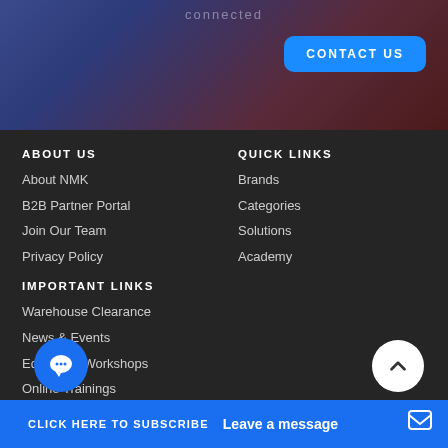connected
CONTACT US
ABOUT US
About NMK
B2B Partner Portal
Join Our Team
Privacy Policy
IMPORTANT LINKS
Warehouse Clearance
News & Events
Education Workshops
Online Trainings
NEWSLETTER
QUICK LINKS
Brands
Categories
Solutions
Academy
CLICK HERE TO SUBSCRIBE
Leave a message